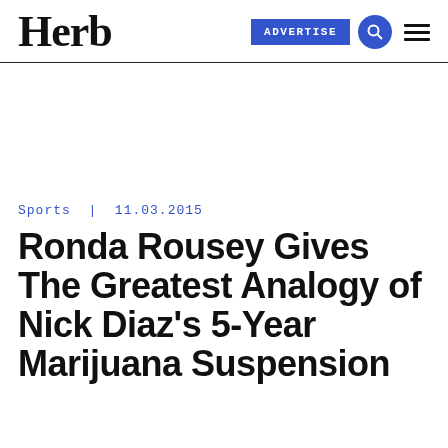Herb | ADVERTISE
Sports | 11.03.2015
Ronda Rousey Gives The Greatest Analogy of Nick Diaz's 5-Year Marijuana Suspension